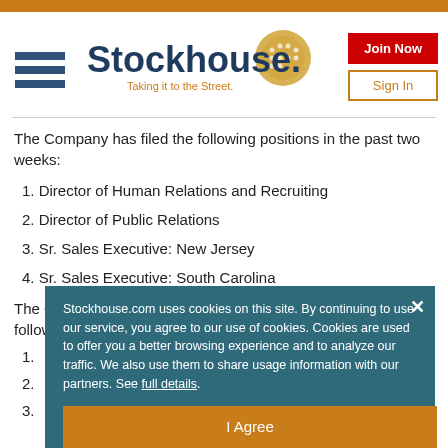Stockhouse — Taking it to the Street.
The Company has filed the following positions in the past two weeks:
1. Director of Human Relations and Recruiting
2. Director of Public Relations
3. Sr. Sales Executive: New Jersey
4. Sr. Sales Executive: South Carolina
The Company has immediate positions available for the following jo
1.
2.
3.
Stockhouse.com uses cookies on this site. By continuing to use our service, you agree to our use of cookies. Cookies are used to offer you a better browsing experience and to analyze our traffic. We also use them to share usage information with our partners. See full details.